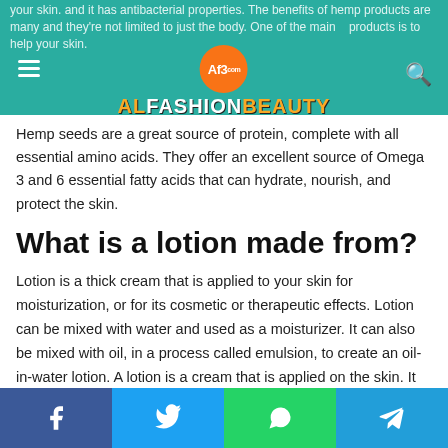ALFASHIONBEAUTY
Hemp seeds are a great source of protein, complete with all essential amino acids. They offer an excellent source of Omega 3 and 6 essential fatty acids that can hydrate, nourish, and protect the skin.
What is a lotion made from?
Lotion is a thick cream that is applied to your skin for moisturization, or for its cosmetic or therapeutic effects. Lotion can be mixed with water and used as a moisturizer. It can also be mixed with oil, in a process called emulsion, to create an oil-in-water lotion. A lotion is a cream that is applied on the skin. It can be made from a lot of different things like oils,
Facebook | Twitter | WhatsApp | Telegram